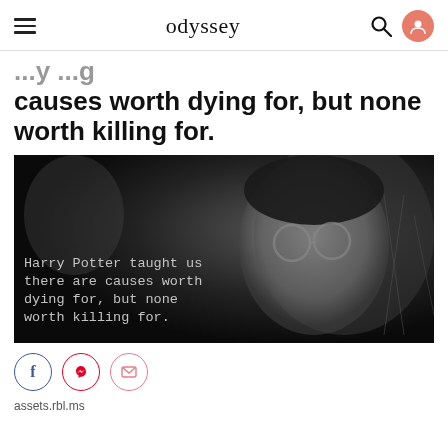odyssey
causes worth dying for, but none worth killing for.
[Figure (photo): Black and white photo of Harry Potter (young boy with round glasses) with overlaid text: 'Harry Potter taught us there are causes worth dying for, but none worth killing for.']
assets.rbl.ms